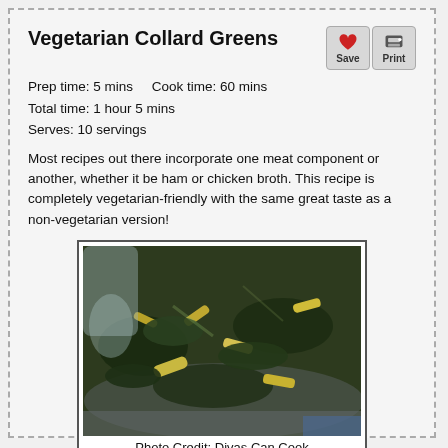Vegetarian Collard Greens
Prep time:  5 mins     Cook time:  60 mins
Total time:  1 hour 5 mins
Serves: 10 servings
Most recipes out there incorporate one meat component or another, whether it be ham or chicken broth. This recipe is completely vegetarian-friendly with the same great taste as a non-vegetarian version!
[Figure (photo): Photo of cooked collard greens in a metal pot/pan, showing dark green and yellow-green pieces of greens.]
Photo Credit: Divas Can Cook